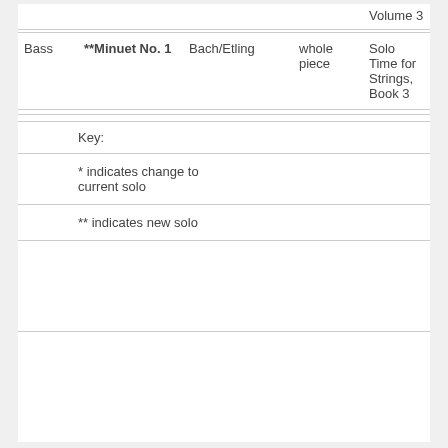|  |  |  |  | Volume 3 |
| --- | --- | --- | --- | --- |
| Bass | **Minuet No. 1 | Bach/Etling | whole piece | Solo Time for Strings, Book 3 |
Key:
* indicates change to current solo
** indicates new solo